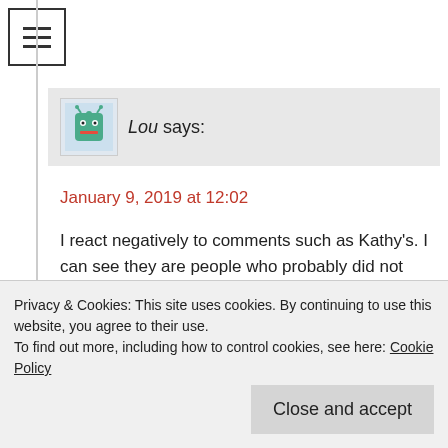[Figure (illustration): Hamburger menu icon — three horizontal lines inside a square border]
Lou says:
January 9, 2019 at 12:02
I react negatively to comments such as Kathy's. I can see they are people who probably did not have narcissistic parents and do not get it. As for people who write here that HG has mummy issues because he writes about his mother's abuse, I just think how sexist those comments are too. It is as if it is easy to shame and blame a guy for writing about it, for showing
Privacy & Cookies: This site uses cookies. By continuing to use this website, you agree to their use.
To find out more, including how to control cookies, see here: Cookie Policy
Close and accept